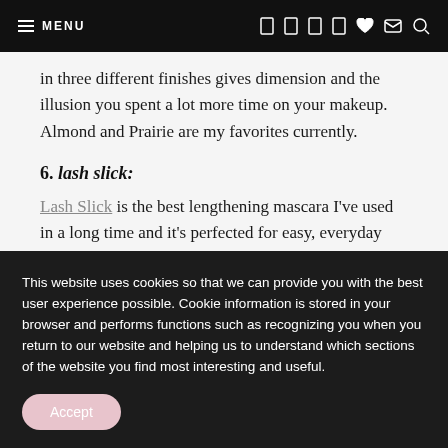MENU
in three different finishes gives dimension and the illusion you spent a lot more time on your makeup. Almond and Prairie are my favorites currently.
6. lash slick:
Lash Slick is the best lengthening mascara I've used in a long time and it's perfected for easy, everyday makeup! I never have to worry about flaking either. I alternate between this and my ILIA mascara.
This website uses cookies so that we can provide you with the best user experience possible. Cookie information is stored in your browser and performs functions such as recognizing you when you return to our website and helping us to understand which sections of the website you find most interesting and useful.